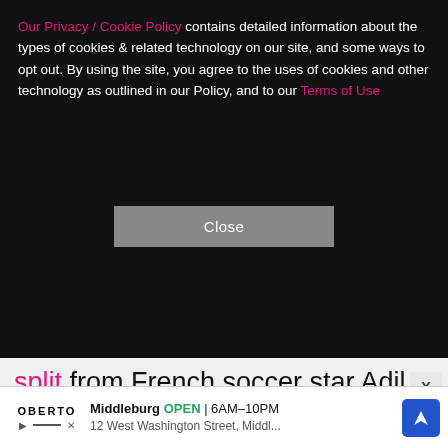Our Privacy / Cookie Policy contains detailed information about the types of cookies & related technology on our site, and some ways to opt out. By using the site, you agree to the uses of cookies and other technology as outlined in our Policy, and to our Terms of Use
Close
split from French soccer star Adil Rami. "Pamela has never seen her full potential as an artist. She has yet to shine in a real way. There is much more to her than meets the eye, or I wouldn't love her so much," the producer gushed to The Hollywood Reporter following their nuptials. "There are beautiful girls everywhere. I could have my pick, but — for 35 years — I've only wanted Pamela. She makes me wild — in a good way. She inspires me. I protect her and treat her the way sh
Middleburg OPEN | 6AM–10PM
12 West Washington Street, Middl...